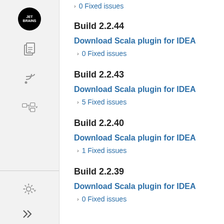0 Fixed issues
Build 2.2.44
Download Scala plugin for IDEA
0 Fixed issues
Build 2.2.43
Download Scala plugin for IDEA
5 Fixed issues
Build 2.2.40
Download Scala plugin for IDEA
1 Fixed issues
Build 2.2.39
Download Scala plugin for IDEA
0 Fixed issues